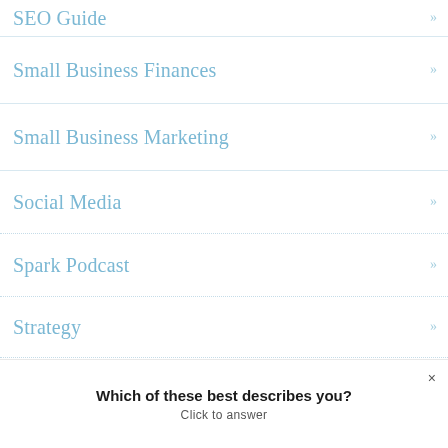SEO Guide »
Small Business Finances »
Small Business Marketing »
Social Media »
Spark Podcast »
Strategy »
Strategy First »
The Ultimate Marketing Engine »
Which of these best describes you?
Click to answer